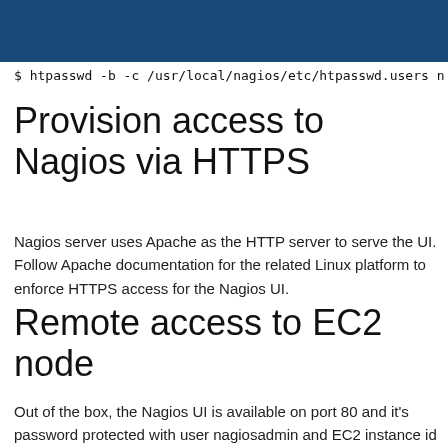$ htpasswd -b -c /usr/local/nagios/etc/htpasswd.users n
Provision access to Nagios via HTTPS
Nagios server uses Apache as the HTTP server to serve the UI. Follow Apache documentation for the related Linux platform to enforce HTTPS access for the Nagios UI.
Remote access to EC2 node
Out of the box, the Nagios UI is available on port 80 and it's password protected with user nagiosadmin and EC2 instance id as password.